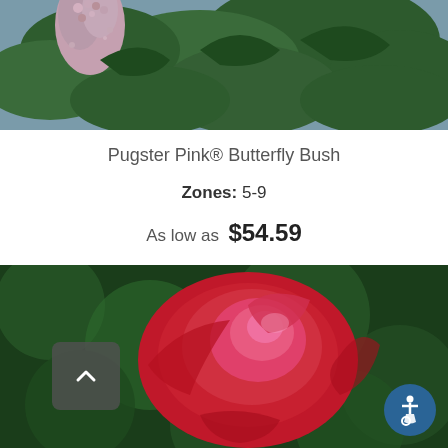[Figure (photo): Top portion of a butterfly bush plant with pinkish-purple flower clusters and green leaves, partially cropped at top]
Pugster Pink® Butterfly Bush
Zones: 5-9
As low as $54.59
[Figure (photo): Close-up photo of a bright red and pink rose blossom against a blurred green bokeh background]